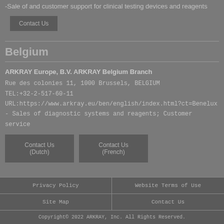-Sale of and customer support for clinical testing devices and reagents
Contact Us
Belgium
ARKRAY Europe, B.V. ARKRAY Belgium Branch
Rue des colonies 11, 1000 Brussels, BELGIUM
TEL:+32-2-517-60-11
URL:https://www.arkray.eu/ben/english/index.html?ct=Benelux
- Sales of diagnostic systems and reagents; Customer service
Contact Us (Dutch)
Contact Us (French)
Privacy Policy | Website Terms of Use | Site Map | Contact Us
Copyright© 2022 ARKRAY, Inc. All Rights Reserved.